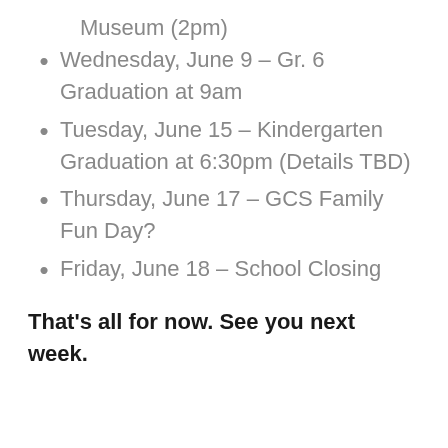Museum (2pm)
Wednesday, June 9 – Gr. 6 Graduation at 9am
Tuesday, June 15 – Kindergarten Graduation at 6:30pm (Details TBD)
Thursday, June 17 – GCS Family Fun Day?
Friday, June 18 – School Closing
That's all for now. See you next week.